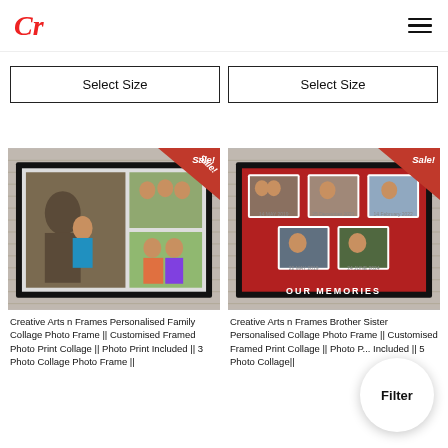Cr [logo] — hamburger menu
Select Size
Select Size
[Figure (photo): Framed family photo collage with Sale! badge in top right corner. Black frame containing a collage of family photos on a brick wall background.]
[Figure (photo): Framed Brother Sister personalised collage photo frame with red background inside frame and Sale! badge in top right corner, showing 5 photos with OUR MEMORIES text.]
Creative Arts n Frames Personalised Family Collage Photo Frame || Customised Framed Photo Print Collage || Photo Print Included || 3 Photo Collage Photo Frame ||
Creative Arts n Frames Brother Sister Personalised Collage Photo Frame || Customised Framed Print Collage || Photo Print Included || 5 Photo Collage||
Filter